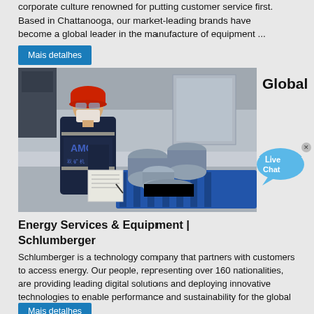corporate culture renowned for putting customer service first. Based in Chattanooga, our market-leading brands have become a global leader in the manufacture of equipment ...
Mais detalhes
[Figure (photo): Worker in navy uniform with 'AMC' branding and red hard hat inspecting metal cylindrical parts on a blue pallet, writing on a clipboard]
Global
[Figure (illustration): Live Chat speech bubble icon in blue]
Energy Services & Equipment | Schlumberger
Schlumberger is a technology company that partners with customers to access energy. Our people, representing over 160 nationalities, are providing leading digital solutions and deploying innovative technologies to enable performance and sustainability for the global energy industry.
Mais detalhes